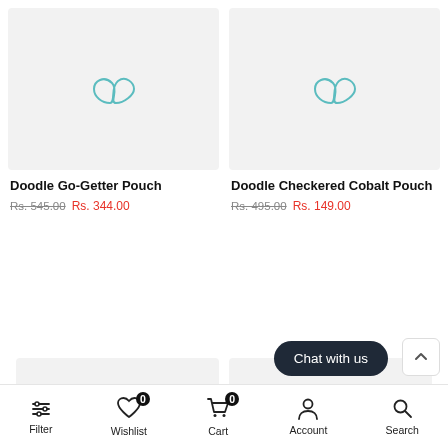[Figure (photo): Product image placeholder with teal infinity-like logo on light gray background for Doodle Go-Getter Pouch]
[Figure (photo): Product image placeholder with teal infinity-like logo on light gray background for Doodle Checkered Cobalt Pouch]
Doodle Go-Getter Pouch Rs. 545.00 Rs. 344.00
Doodle Checkered Cobalt Pouch Rs. 495.00 Rs. 149.00
[Figure (photo): Partial product image placeholder on light gray background (bottom left, cut off)]
[Figure (photo): Partial product image placeholder on light gray background (bottom right, cut off)]
Filter Wishlist 0 Cart 0 Account Search